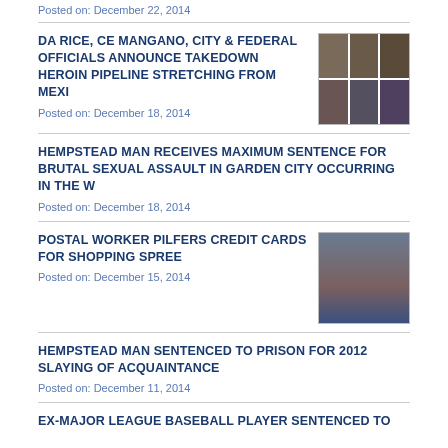Posted on: December 22, 2014
DA RICE, CE MANGANO, CITY & FEDERAL OFFICIALS ANNOUNCE TAKEDOWN HEROIN PIPELINE STRETCHING FROM MEXI
Posted on: December 18, 2014
HEMPSTEAD MAN RECEIVES MAXIMUM SENTENCE FOR BRUTAL SEXUAL ASSAULT IN GARDEN CITY OCCURRING IN THE W
Posted on: December 18, 2014
POSTAL WORKER PILFERS CREDIT CARDS FOR SHOPPING SPREE
Posted on: December 15, 2014
HEMPSTEAD MAN SENTENCED TO PRISON FOR 2012 SLAYING OF ACQUAINTANCE
Posted on: December 11, 2014
EX-MAJOR LEAGUE BASEBALL PLAYER SENTENCED TO